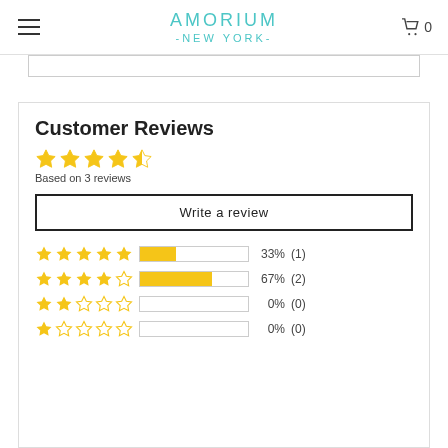AMORIUM -NEW YORK-
Customer Reviews
Based on 3 reviews
Write a review
[Figure (bar-chart): Rating distribution]